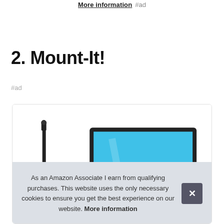More information #ad
2. Mount-It!
#ad
[Figure (photo): Product photo of a Mount-It! monitor arm or mount with a monitor displayed on a blue screen, shown partially inside a bordered product card.]
As an Amazon Associate I earn from qualifying purchases. This website uses the only necessary cookies to ensure you get the best experience on our website. More information